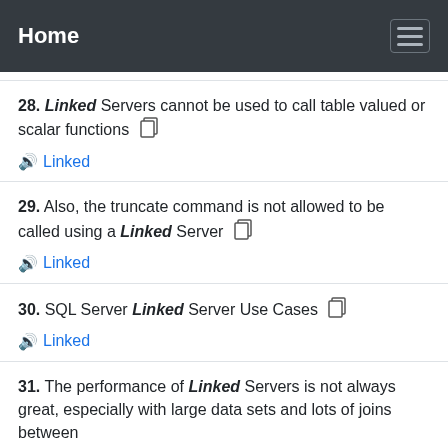Home
28. Linked Servers cannot be used to call table valued or scalar functions
29. Also, the truncate command is not allowed to be called using a Linked Server
30. SQL Server Linked Server Use Cases
31. The performance of Linked Servers is not always great, especially with large data sets and lots of joins between